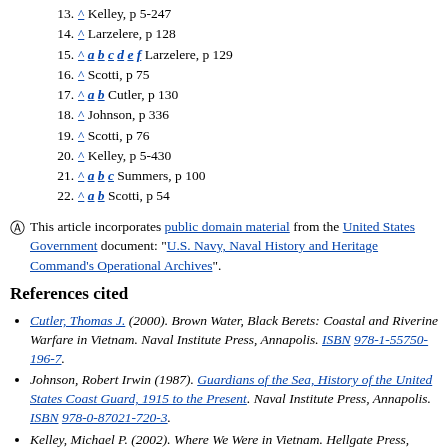13. ^ Kelley, p 5-247
14. ^ Larzelere, p 128
15. ^ a b c d e f Larzelere, p 129
16. ^ Scotti, p 75
17. ^ a b Cutler, p 130
18. ^ Johnson, p 336
19. ^ Scotti, p 76
20. ^ Kelley, p 5-430
21. ^ a b c Summers, p 100
22. ^ a b Scotti, p 54
This article incorporates public domain material from the United States Government document: "U.S. Navy, Naval History and Heritage Command's Operational Archives".
References cited
Cutler, Thomas J. (2000). Brown Water, Black Berets: Coastal and Riverine Warfare in Vietnam. Naval Institute Press, Annapolis. ISBN 978-1-55750-196-7.
Johnson, Robert Irwin (1987). Guardians of the Sea, History of the United States Coast Guard, 1915 to the Present. Naval Institute Press, Annapolis. ISBN 978-0-87021-720-3.
Kelley, Michael P. (2002). Where We Were in Vietnam. Hellgate Press, Central Point, Oregon. ISBN 978-1-55571-